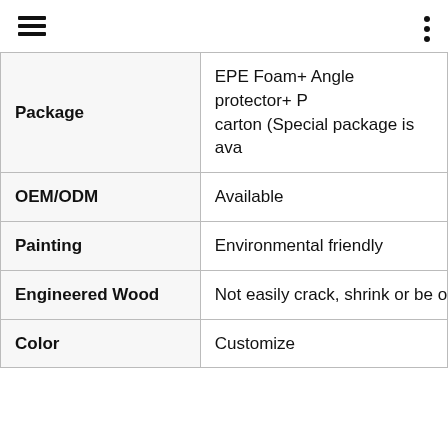| Property | Value |
| --- | --- |
| Package | EPE Foam+ Angle protector+ P… carton (Special package is ava… |
| OEM/ODM | Available |
| Painting | Environmental friendly |
| Engineered Wood | Not easily crack, shrink or be o… |
| Color | Customize |